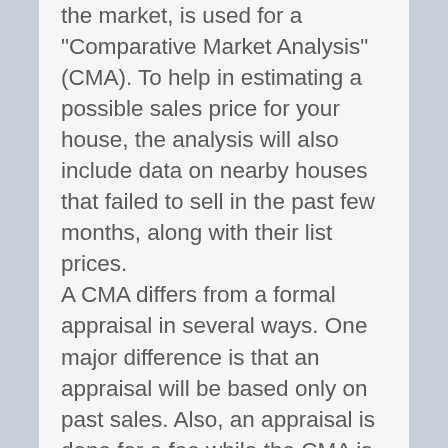the market, is used for a "Comparative Market Analysis" (CMA). To help in estimating a possible sales price for your house, the analysis will also include data on nearby houses that failed to sell in the past few months, along with their list prices. A CMA differs from a formal appraisal in several ways. One major difference is that an appraisal will be based only on past sales. Also, an appraisal is done for a fee while the CMA is provided by your REALTOR® and may include properties currently listed for sale and those currently pending sale. For the average home sale, a CMA probably gives enough information to help you set a proper price. Formal Written Appraisal: A formal written appraisal (which may cost a few hundred dollars to a few of f...